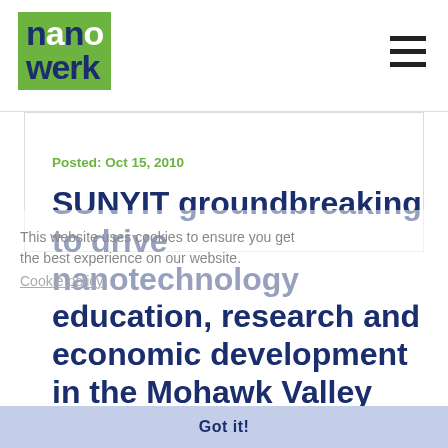nanowerk
Posted: Oct 15, 2010
This website uses cookies to ensure you get the best experience on our website.
SUNYIT groundbreaking to drive nanotechnology education, research and economic development in the Mohawk Valley
Cookie policy
Got it!